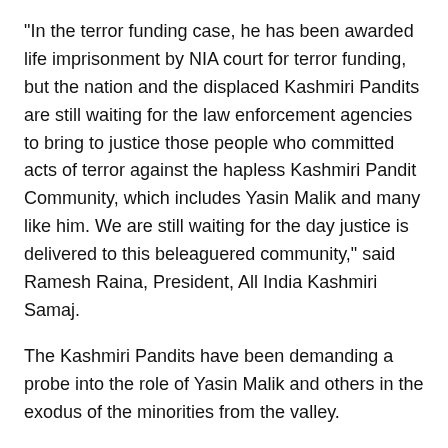“In the terror funding case, he has been awarded life imprisonment by NIA court for terror funding, but the nation and the displaced Kashmiri Pandits are still waiting for the law enforcement agencies to bring to justice those people who committed acts of terror against the hapless Kashmiri Pandit Community, which includes Yasin Malik and many like him. We are still waiting for the day justice is delivered to this beleaguered community,” said Ramesh Raina, President, All India Kashmiri Samaj.
The Kashmiri Pandits have been demanding a probe into the role of Yasin Malik and others in the exodus of the minorities from the valley.
Raina said: “We have already demanded a time-bound truth commission to fix the responsibility and accountability on the perpetrators of genocide on us.”